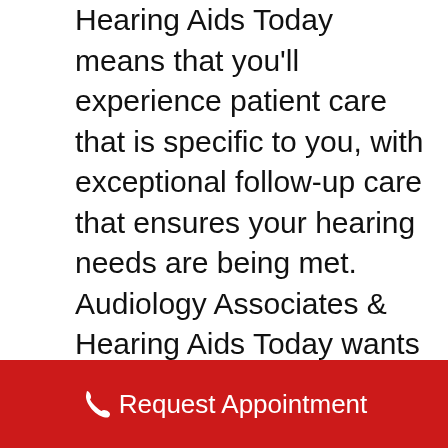Hearing Aids Today means that you'll experience patient care that is specific to you, with exceptional follow-up care that ensures your hearing needs are being met. Audiology Associates & Hearing Aids Today wants you to be satisfied with your care. We are a local, independent, community-oriented practice. Our services are fully guaranteed, meaning we are committed to listening to your concerns, and your technology is always perfectly fit to renew your world of hearing. A strong patient-provider relationship based on honesty, integrity, and values is what we strive for, and we feel that this is the best approach to making sure you don't miss any of the precious moments in your life.
Request Appointment